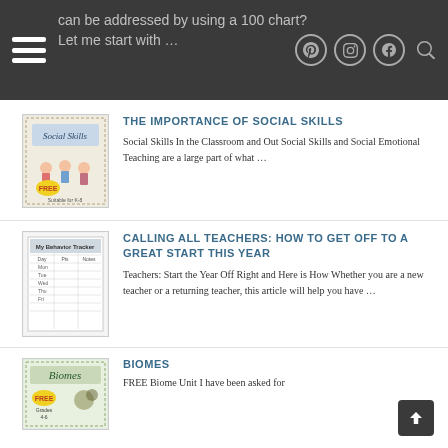can be addressed by using a 100 chart? Let me start with…
THE IMPORTANCE OF SOCIAL SKILLS
[Figure (illustration): Social Skills thumbnail image with cartoon children and 'FREE' label, Suitable for K-8]
Social Skills In the Classroom and Out Social Skills and Social Emotional Teaching are a large part of what…
CALLING ALL TEACHERS: HOW TO GET OFF TO A GREAT START THIS YEAR
[Figure (illustration): Behavior Tracker worksheet thumbnail image]
Teachers: Start the Year Off Right and Here is How Whether you are a new teacher or a returning teacher, this article will help you have…
BIOMES
[Figure (illustration): Biomes thumbnail image with 'FREE' label, Grades 4-6]
FREE Biome Unit I have been asked for